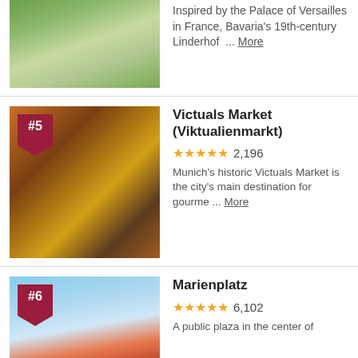[Figure (photo): Aerial view of Linderhof Palace with formal gardens, fountain pool, and tree-lined avenues]
Inspired by the Palace of Versailles in France, Bavaria's 19th-century Linderhof … More
[Figure (photo): Victuals Market stall with colorful fruits and vegetables on display]
Victuals Market (Viktualienmarkt)
2,196
Munich's historic Victuals Market is the city's main destination for gourme … More
[Figure (photo): Aerial cityscape of Marienplatz with church tower and rooftops under blue sky]
Marienplatz
6,102
A public plaza in the center of